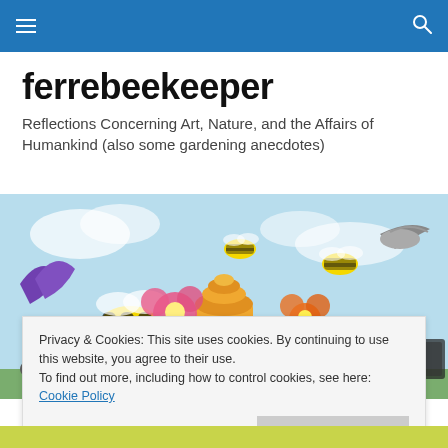ferrebeekeeper navigation bar
ferrebeekeeper
Reflections Concerning Art, Nature, and the Affairs of Humankind (also some gardening anecdotes)
[Figure (illustration): Colorful illustrated banner featuring bees, flowers, a beehive, birds, and other nature elements on a light blue watercolor background]
Privacy & Cookies: This site uses cookies. By continuing to use this website, you agree to their use.
To find out more, including how to control cookies, see here: Cookie Policy
Close and accept